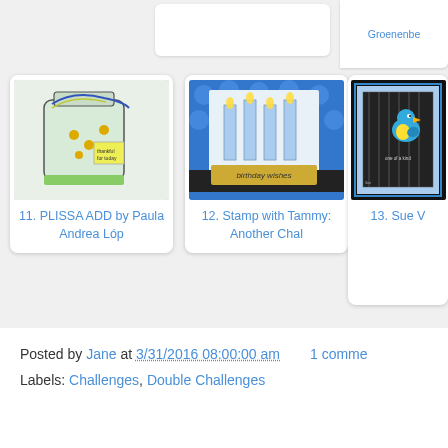[Figure (photo): Card image: mason jar with bees/flowers and blue string]
11. PLISSA ADD by Paula Andrea Lóp
[Figure (photo): Card image: birthday cake candles on blue polka dot background with 'birthday wishes' gold banner]
12. Stamp with Tammy: Another Chal
[Figure (photo): Card image: blue bird on striped/checkered background with 'one of a kind' text]
13. Sue V
Groenenbe
Posted by Jane at 3/31/2016 08:00:00 am   1 comme
Labels: Challenges, Double Challenges